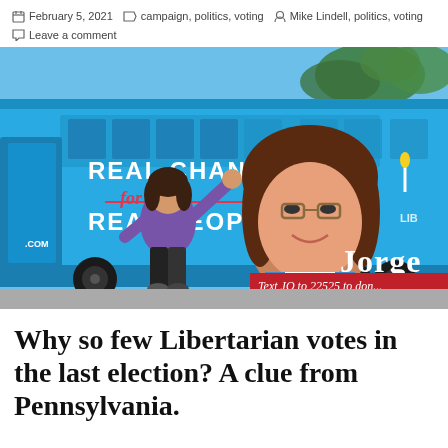February 5, 2021   campaign, politics, voting   Mike Lindell, politics, voting   Leave a comment
[Figure (photo): A woman in a purple sweatshirt standing in front of a blue Libertarian campaign bus wrapped with the text 'REAL CHANGE for REAL PEOPLE' and a large image of a female candidate named Jorgensen. The bus also shows 'Text JO to 22525 to don...' on a red banner at the bottom right.]
Why so few Libertarian votes in the last election? A clue from Pennsylvania.